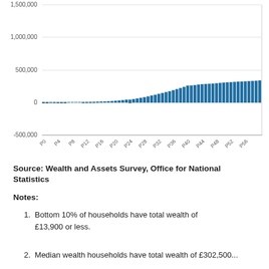[Figure (bar-chart): ]
Source: Wealth and Assets Survey, Office for National Statistics
Notes:
Bottom 10% of households have total wealth of £13,900 or less.
Median wealth households have total wealth of £302,400...